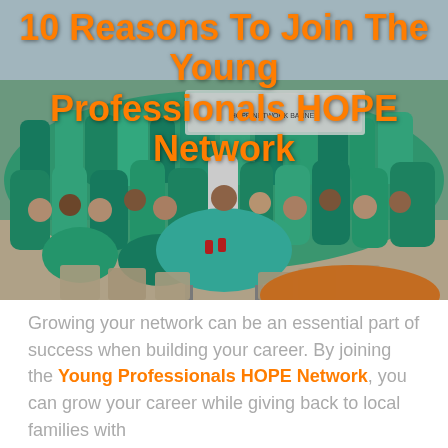[Figure (photo): Group photo of many people, mostly wearing teal/turquoise t-shirts, gathered outdoors at what appears to be a community event with folding tables and chairs. The Young Professionals HOPE Network event.]
10 Reasons To Join The Young Professionals HOPE Network
Growing your network can be an essential part of success when building your career. By joining the Young Professionals HOPE Network, you can grow your career while giving back to local families with...